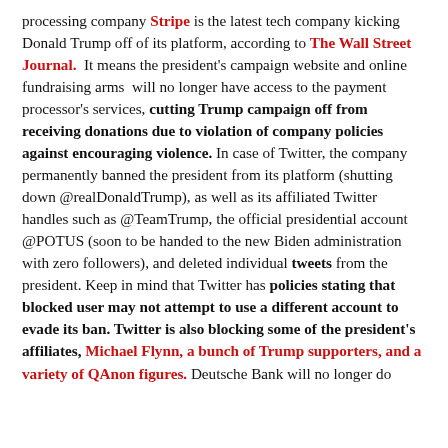processing company Stripe is the latest tech company kicking Donald Trump off of its platform, according to The Wall Street Journal. It means the president's campaign website and online fundraising arms will no longer have access to the payment processor's services, cutting Trump campaign off from receiving donations due to violation of company policies against encouraging violence. In case of Twitter, the company permanently banned the president from its platform (shutting down @realDonaldTrump), as well as its affiliated Twitter handles such as @TeamTrump, the official presidential account @POTUS (soon to be handed to the new Biden administration with zero followers), and deleted individual tweets from the president. Keep in mind that Twitter has policies stating that blocked user may not attempt to use a different account to evade its ban. Twitter is also blocking some of the president's affiliates, Michael Flynn, a bunch of Trump supporters, and a variety of QAnon figures. Deutsche Bank will no longer do